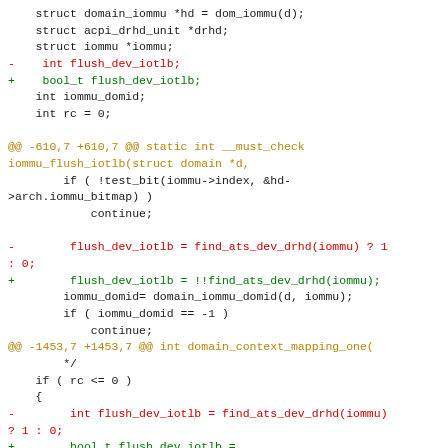Code diff showing changes to flush_dev_iotlb type from int to bool_t in iommu functions